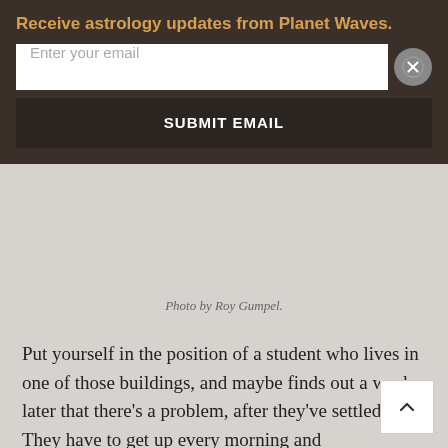Receive astrology updates from Planet Waves.
Enter your email
SUBMIT EMAIL
[Figure (photo): Gray background photo area with photo credit below]
Photo by Roy Gumpel.
Put yourself in the position of a student who lives in one of those buildings, and maybe finds out a week later that there's a problem, after they've settled in. They have to get up every morning and